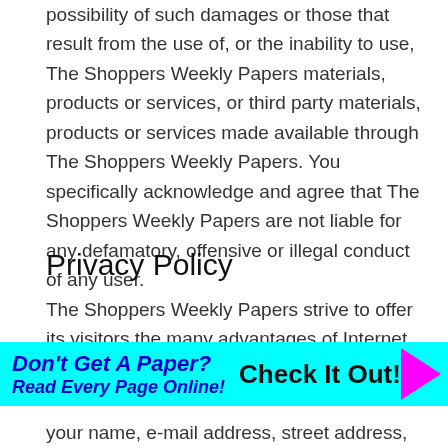possibility of such damages or those that result from the use of, or the inability to use, The Shoppers Weekly Papers materials, products or services, or third party materials, products or services made available through The Shoppers Weekly Papers. You specifically acknowledge and agree that The Shoppers Weekly Papers are not liable for any defamatory, offensive or illegal conduct of any user.
Privacy Policy
The Shoppers Weekly Papers strive to offer its visitors the many advantages of Internet technology and to
[Figure (infographic): Cyan banner advertisement: 'Don't Get A Paper? Read Every Page Online! Check It Out!' with a magenta arrow on the right.]
your name, e-mail address, street address, telephone